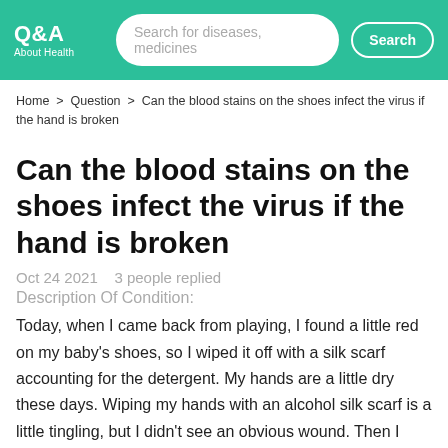Q&A About Health | Search for diseases, medicines | Search
Home > Question > Can the blood stains on the shoes infect the virus if the hand is broken
Can the blood stains on the shoes infect the virus if the hand is broken
Oct 24 2021   3 people replied
Description Of Condition:
Today, when I came back from playing, I found a little red on my baby's shoes, so I wiped it off with a silk scarf accounting for the detergent. My hands are a little dry these days. Wiping my hands with an alcohol silk scarf is a little tingling, but I didn't see an obvious wound. Then I washed my hands with soap.